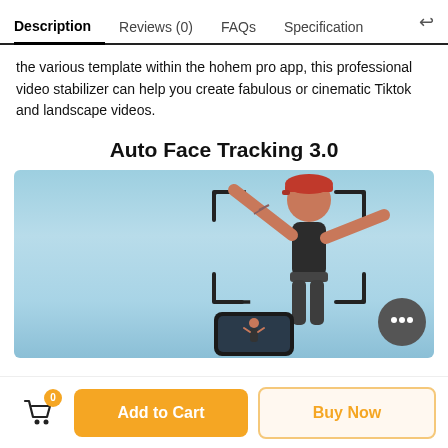Description | Reviews (0) | FAQs | Specification
the various template within the hohem pro app, this professional video stabilizer can help you create fabulous or cinematic Tiktok and landscape videos.
Auto Face Tracking 3.0
[Figure (photo): Person dancing/jumping with arms spread, wearing a red cap and dark outfit, with a face-tracking bracket overlay and a phone screen visible below showing the tracking in action. Light blue gradient background.]
Add to Cart
Buy Now